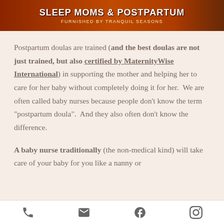[Figure (screenshot): Banner header showing 'SLEEP MOMS & POSTPARTUM' in white bold text and 'FURNISHED BY TRANQUIL SEASONS' in yellow subtitle text on a dark reddish-brown gradient background]
Postpartum doulas are trained (and the best doulas are not just trained, but also certified by MaternityWise International) in supporting the mother and helping her to care for her baby without completely doing it for her.  We are often called baby nurses because people don't know the term "postpartum doula".  And they also often don't know the difference.
A baby nurse traditionally (the non-medical kind) will take care of your baby for you like a nanny or
phone | email | facebook | instagram